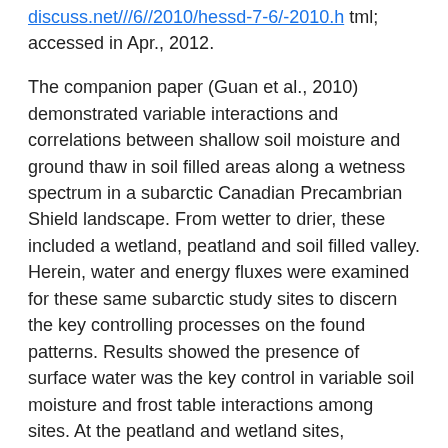discuss.net///6//2010/hessd-7-6/-2010.h tml; accessed in Apr., 2012.
The companion paper (Guan et al., 2010) demonstrated variable interactions and correlations between shallow soil moisture and ground thaw in soil filled areas along a wetness spectrum in a subarctic Canadian Precambrian Shield landscape. From wetter to drier, these included a wetland, peatland and soil filled valley. Herein, water and energy fluxes were examined for these same subarctic study sites to discern the key controlling processes on the found patterns. Results showed the presence of surface water was the key control in variable soil moisture and frost table interactions among sites. At the peatland and wetland sites, accumulated water in depressions and flow paths maintained soil moisture for a longer duration than at the hummock tops. These wet areas were often locations of deepest thaw depth due to the transfer of latent heat accompanying lateral surface runoff.